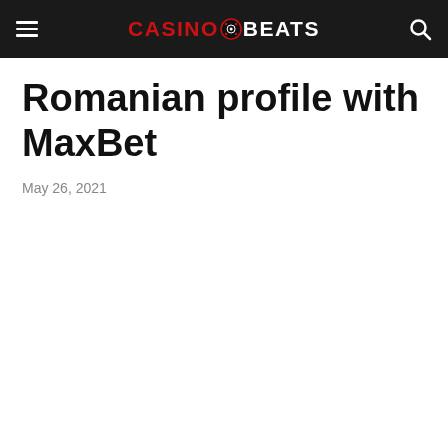CASINOBEATS
Romanian profile with MaxBet
May 26, 2021